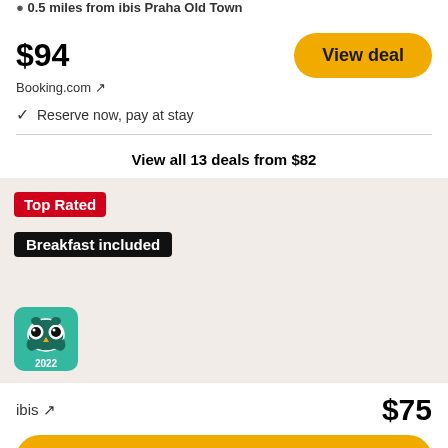0.5 miles from ibis Praha Old Town
$94
Booking.com ↗
View deal
✓ Reserve now, pay at stay
View all 13 deals from $82
Top Rated
Breakfast included
[Figure (logo): TripAdvisor 2022 badge - green owl logo with '2022' text]
ibis ↗
$75
View deal